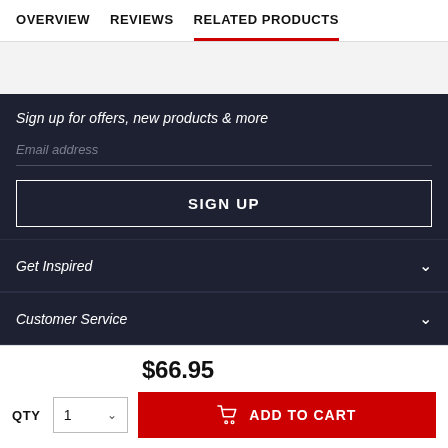OVERVIEW   REVIEWS   RELATED PRODUCTS
Sign up for offers, new products & more
Email address
SIGN UP
Get Inspired
Customer Service
$66.95
QTY  1  ADD TO CART